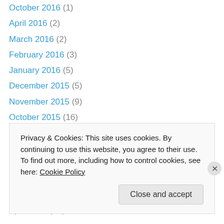October 2016 (1)
April 2016 (2)
March 2016 (2)
February 2016 (3)
January 2016 (5)
December 2015 (5)
November 2015 (9)
October 2015 (16)
September 2015 (9)
August 2015 (9)
July 2015 (10)
June 2015 (8)
May 2015 (5)
April 2015 (10)
Privacy & Cookies: This site uses cookies. By continuing to use this website, you agree to their use.
To find out more, including how to control cookies, see here: Cookie Policy